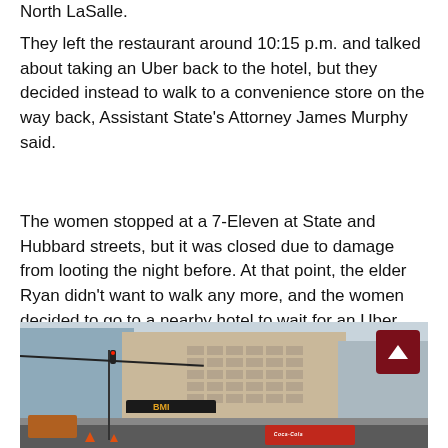North LaSalle.
They left the restaurant around 10:15 p.m. and talked about taking an Uber back to the hotel, but they decided instead to walk to a convenience store on the way back, Assistant State’s Attorney James Murphy said.
The women stopped at a 7-Eleven at State and Hubbard streets, but it was closed due to damage from looting the night before. At that point, the elder Ryan didn’t want to walk any more, and the women decided to go to a nearby hotel to wait for an Uber.
[Figure (photo): Street-level photo of a large tan/beige multi-story hotel or office building at an urban intersection. A black restaurant awning is visible at street level, there is a red Coca-Cola delivery truck at right, a traffic light showing red, construction equipment at left, and a dark maroon scroll-up arrow button at top right corner of the image.]